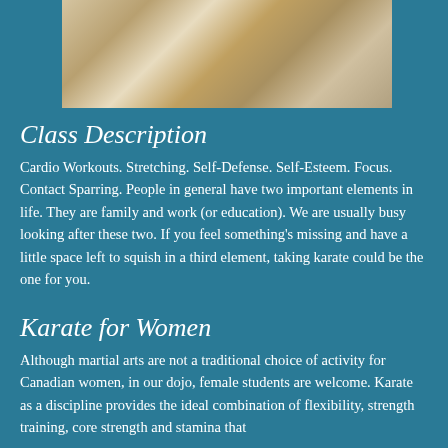[Figure (photo): Two people in white karate gi uniforms performing a sparring technique outdoors]
Class Description
Cardio Workouts. Stretching. Self-Defense. Self-Esteem. Focus. Contact Sparring. People in general have two important elements in life. They are family and work (or education). We are usually busy looking after these two. If you feel something's missing and have a little space left to squish in a third element, taking karate could be the one for you.
Karate for Women
Although martial arts are not a traditional choice of activity for Canadian women, in our dojo, female students are welcome. Karate as a discipline provides the ideal combination of flexibility, strength training, core strength and stamina that